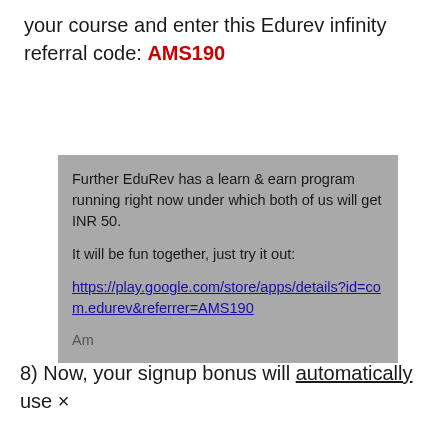your course and enter this Edurev infinity referral code: AMS190
Further EduRev has a learn & earn program running right now under which both of us will get INR 50.

It will be fun together, just try it out:
https://play.google.com/store/apps/details?id=com.edurev&referrer=AMS190

Am
8) Now, your signup bonus will automatically use ×